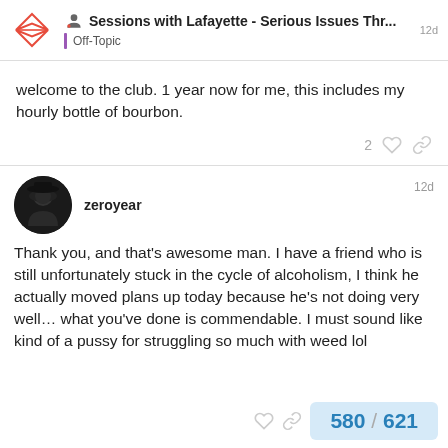Sessions with Lafayette - Serious Issues Thr... | Off-Topic
welcome to the club. 1 year now for me, this includes my hourly bottle of bourbon.
zeroyear  12d
Thank you, and that's awesome man. I have a friend who is still unfortunately stuck in the cycle of alcoholism, I think he actually moved plans up today because he's not doing very well… what you've done is commendable. I must sound like kind of a pussy for struggling so much with weed lol
580 / 621